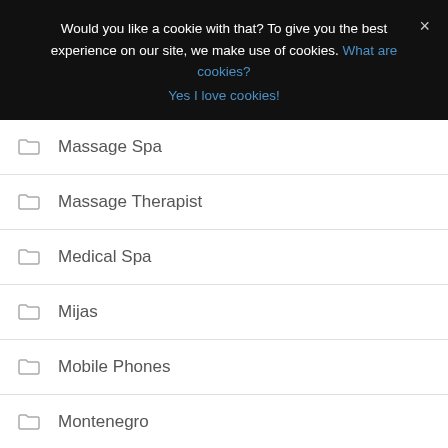Would you like a cookie with that? To give you the best experience on our site, we make use of cookies. What are cookies? Yes I love cookies!
Massage Spa
Massage Therapist
Medical Spa
Mijas
Mobile Phones
Montenegro
Motorcycle Dealer
Motovun
Murska Sobota
Musea
Museum